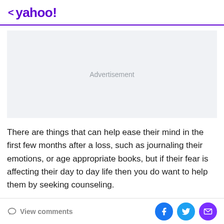< yahoo!
[Figure (other): Advertisement placeholder box with light gray background]
There are things that can help ease their mind in the first few months after a loss, such as journaling their emotions, or age appropriate books, but if their fear is affecting their day to day life then you do want to help them by seeking counseling.
View comments | Facebook share | Twitter share | Email share